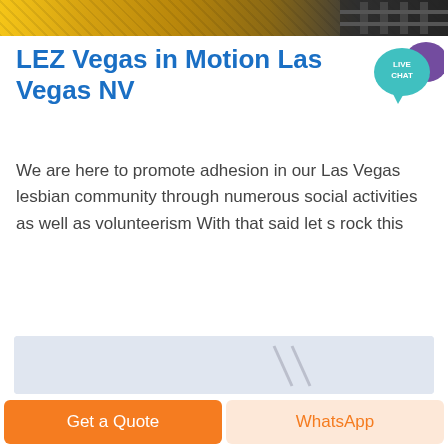[Figure (photo): Top image showing industrial or warehouse scene with yellow and dark tones]
LEZ Vegas in Motion Las Vegas NV
[Figure (illustration): Live Chat speech bubble badge with teal/purple colors and white text LIVE CHAT]
We are here to promote adhesion in our Las Vegas lesbian community through numerous social activities as well as volunteerism With that said let s rock this
[Figure (screenshot): Partial bottom image with light blue/grey background and diagonal lines]
Get a Quote
WhatsApp